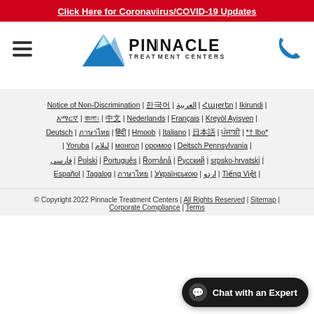Click Here for Coronavirus/COVID-19 Updates
[Figure (logo): Pinnacle Treatment Centers logo with mountain graphic and hamburger menu on left, phone icon on right]
Notice of Non-Discrimination | 한국어 | العربية | Հայerեn | Ikirundi | አማርኛ | বাংলা ৷ | 中文 | Nederlands | Français | Kreyòl Ayisyen | Deutsch | ภาษาไทย | हिंदी | Hmoob | Italiano | 日本語 | ਪੰਜਾਬੀ | *† Ibo* | Yoruba | ليلام | монгол | оромoo | Deitsch Pennsylvania | فارسی | Polski | Português | Română | Русский | srpsko-hrvatski | Español | Tagalog | ภาษาไทย | Українською | اردو | Tiếng Việt |
© Copyright 2022 Pinnacle Treatment Centers | All Rights Reserved | Sitemap | Corporate Compliance | Terms
Chat with an Expert